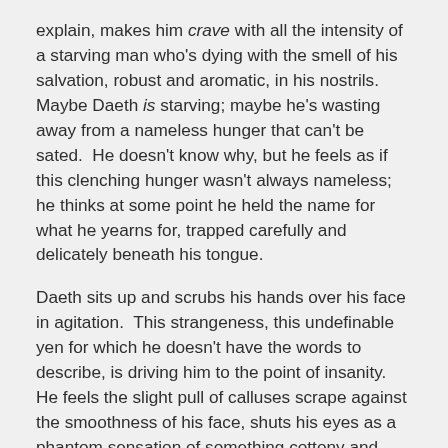explain, makes him crave with all the intensity of a starving man who's dying with the smell of his salvation, robust and aromatic, in his nostrils. Maybe Daeth is starving; maybe he's wasting away from a nameless hunger that can't be sated. He doesn't know why, but he feels as if this clenching hunger wasn't always nameless; he thinks at some point he held the name for what he yearns for, trapped carefully and delicately beneath his tongue.
Daeth sits up and scrubs his hands over his face in agitation. This strangeness, this undefinable yen for which he doesn't have the words to describe, is driving him to the point of insanity. He feels the slight pull of calluses scrape against the smoothness of his face, shuts his eyes as a phantom sensation of something cottony and cool grazes the sweep of his cheek, like a soft, wistful sigh.
A moment later, a real sigh wafts into the air, this time from the soft lips of his bedmate. A small hand traces a path from his hip up his torso, the delicate fingers along the outline of the b...